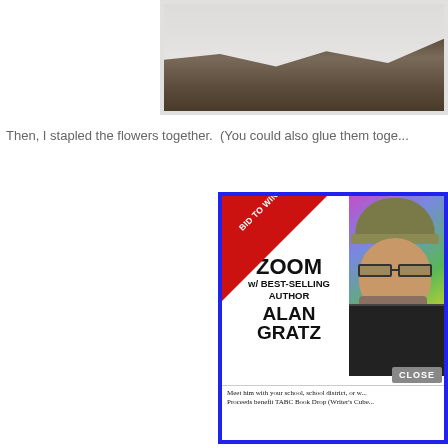[Figure (photo): Top portion of a photo showing white fabric/paper on a dark textured surface (cork board or similar), cropped at the edges]
Then, I stapled the flowers together.  (You could also glue them toge...
[Figure (infographic): Advertisement popup with blue border, red diagonal 'BID TO WIN!' ribbon, text 'ZOOM w/ BEST-SELLING AUTHOR ALAN GRATZ', photo of a bearded man wearing a hat and glasses on colorful geometric background, CLOSE button, and footer text 'Meet him with your school, school district, or w... Proceeds benefit TABC Book Drop (Writer's Cube...']